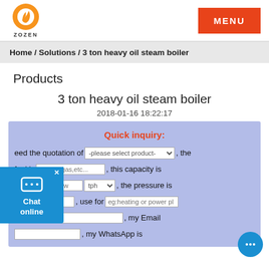[Figure (logo): ZOZEN company logo with orange flame emblem and ZOZEN text below]
MENU
Home / Solutions / 3 ton heavy oil steam boiler
Products
3 ton heavy oil steam boiler
2018-01-16 18:22:17
Quick inquiry: I need the quotation of -please select product-, the fuel is coal,oil,gas,etc..., this capacity is eg:5ton/h or 5mw tph, the pressure is , use for eg:heating or power plant. My Name is , my Email , my WhatsApp is